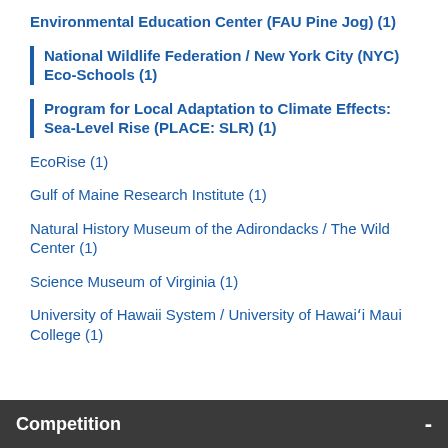Environmental Education Center (FAU Pine Jog) (1)
National Wildlife Federation / New York City (NYC) Eco-Schools (1)
Program for Local Adaptation to Climate Effects: Sea-Level Rise (PLACE: SLR) (1)
EcoRise (1)
Gulf of Maine Research Institute (1)
Natural History Museum of the Adirondacks / The Wild Center (1)
Science Museum of Virginia (1)
University of Hawaii System / University of Hawaiʻi Maui College (1)
Competition